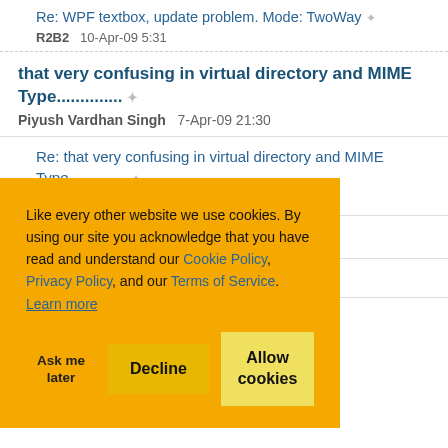Re: WPF textbox, update problem. Mode: TwoWay
R2B2   10-Apr-09 5:31
that very confusing in virtual directory and MIME Type.............. 
Piyush Vardhan Singh   7-Apr-09 21:30
Re: that very confusing in virtual directory and MIME Type..............
Mark Salsbery   8-Apr-09 12:38
Like every other website we use cookies. By using our site you acknowledge that you have read and understand our Cookie Policy, Privacy Policy, and our Terms of Service.
Learn more
Ask me later   Decline   Allow cookies